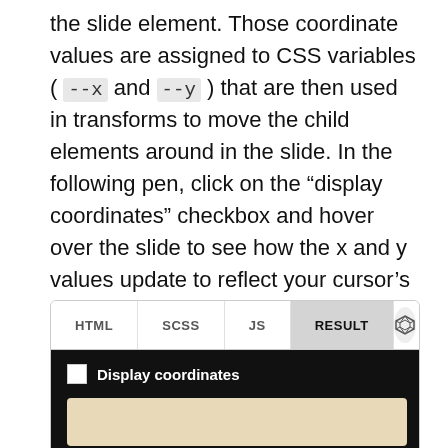the slide element. Those coordinate values are assigned to CSS variables ( --x and --y ) that are then used in transforms to move the child elements around in the slide. In the following pen, click on the “display coordinates” checkbox and hover over the slide to see how the x and y values update to reflect your cursor’s position and movement.
[Figure (screenshot): A CodePen embed showing tabs: HTML, SCSS, JS, Result (active). Below the tabs is a dark black panel with a 'Display coordinates' checkbox (unchecked) and a tan/beige slide preview area.]